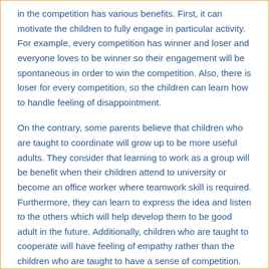in the competition has various benefits. First, it can motivate the children to fully engage in particular activity. For example, every competition has winner and loser and everyone loves to be winner so their engagement will be spontaneous in order to win the competition. Also, there is loser for every competition, so the children can learn how to handle feeling of disappointment.
On the contrary, some parents believe that children who are taught to coordinate will grow up to be more useful adults. They consider that learning to work as a group will be benefit when their children attend to university or become an office worker where teamwork skill is required. Furthermore, they can learn to express the idea and listen to the others which will help develop them to be good adult in the future. Additionally, children who are taught to cooperate will have feeling of empathy rather than the children who are taught to have a sense of competition.